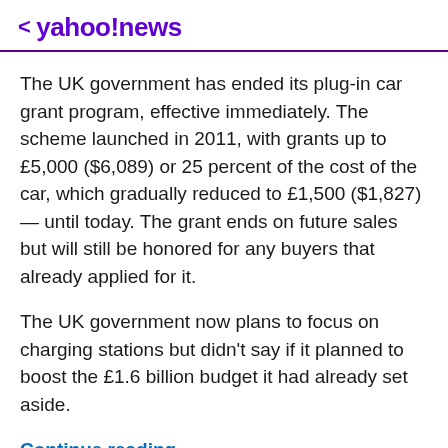< yahoo!news
The UK government has ended its plug-in car grant program, effective immediately. The scheme launched in 2011, with grants up to £5,000 ($6,089) or 25 percent of the cost of the car, which gradually reduced to £1,500 ($1,827) — until today. The grant ends on future sales but will still be honored for any buyers that already applied for it.
The UK government now plans to focus on charging stations but didn't say if it planned to boost the £1.6 billion budget it had already set aside.
Continue reading.